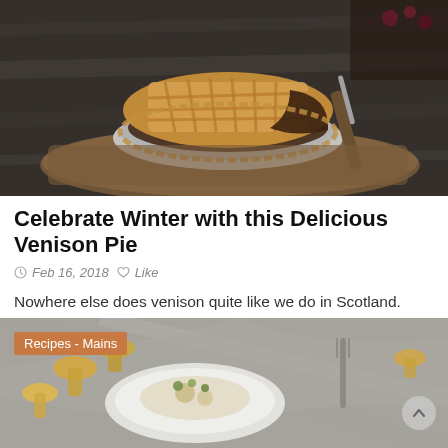[Figure (photo): A venison pie in a metal pie dish on a wooden board, with the pastry crust partially cut away revealing the meat filling inside. A knife is visible to the right. Dark wood background.]
Celebrate Winter with this Delicious Venison Pie
Feb 16, 2018  Like
Nowhere else does venison quite like we do in Scotland. Lean and packed with flavour, it is also low in fat and high in iron. It is...
[Figure (photo): A plate with food (possibly mushroom or chanterelle dish) on a grey linen napkin with a fork, surrounded by golden chanterelle mushrooms scattered on a grey surface. Category tag 'Recipes - Mains' in orange overlay top left.]